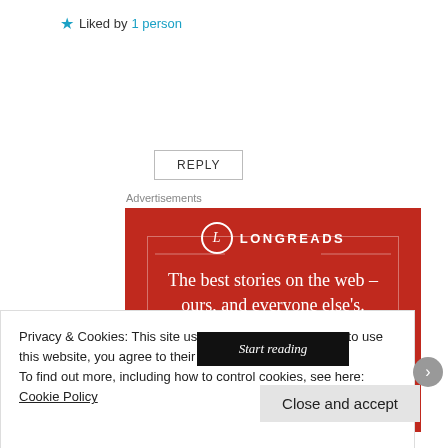★ Liked by 1 person
REPLY
Advertisements
[Figure (illustration): Longreads advertisement: red background with white circle-L logo, 'LONGREADS' brand text, tagline 'The best stories on the web – ours, and everyone else's.' and a dark 'Start reading' button.]
Privacy & Cookies: This site uses cookies. By continuing to use this website, you agree to their use.
To find out more, including how to control cookies, see here: Cookie Policy
Close and accept